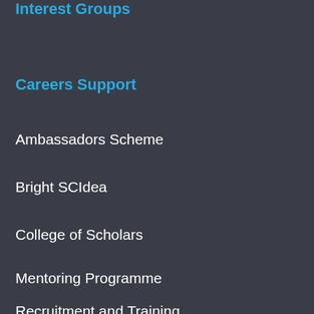Interest Groups
Careers Support
Ambassadors Scheme
Bright SCIdea
College of Scholars
Mentoring Programme
Recruitment and Training